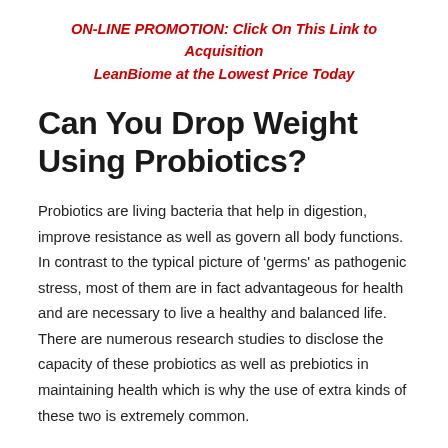ON-LINE PROMOTION: Click On This Link to Acquisition LeanBiome at the Lowest Price Today
Can You Drop Weight Using Probiotics?
Probiotics are living bacteria that help in digestion, improve resistance as well as govern all body functions. In contrast to the typical picture of ‘germs’ as pathogenic stress, most of them are in fact advantageous for health and are necessary to live a healthy and balanced life. There are numerous research studies to disclose the capacity of these probiotics as well as prebiotics in maintaining health which is why the use of extra kinds of these two is extremely common.
There is no magic in probiotic-based weight reduction. The presence of these advantageous bacteria helps the body